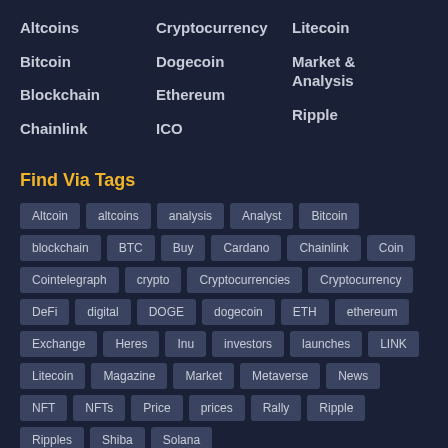Altcoins
Bitcoin
Blockchain
Chainlink
Cryptocurrency
Dogecoin
Ethereum
ICO
Litecoin
Market & Analysis
Ripple
Find Via Tags
Altcoin
altcoins
analysis
Analyst
Bitcoin
blockchain
BTC
Buy
Cardano
Chainlink
Coin
Cointelegraph
crypto
Cryptocurrencies
Cryptocurrency
DeFi
digital
DOGE
dogecoin
ETH
ethereum
Exchange
Heres
Inu
investors
launches
LINK
Litecoin
Magazine
Market
Metaverse
News
NFT
NFTs
Price
prices
Rally
Ripple
Ripples
Shiba
Solana